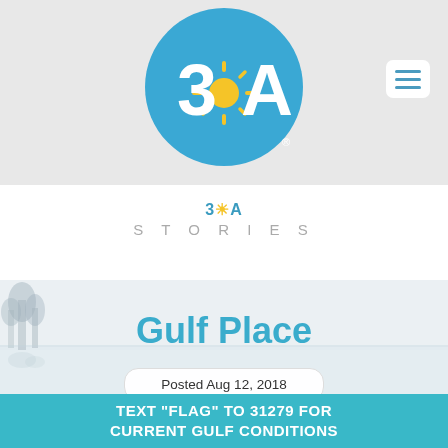[Figure (logo): 30A logo: blue circle with '3', sun icon, 'A' in white text]
[Figure (other): Hamburger menu button (three horizontal lines) in white rounded rectangle]
30A STORIES
[Figure (photo): Faded landscape photo of a lake or coastal waterway with trees on the left]
Gulf Place
Posted Aug 12, 2018
TEXT "FLAG" TO 31279 FOR CURRENT GULF CONDITIONS